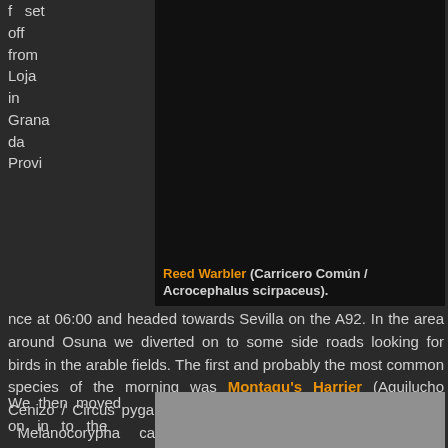f set off from Loja in Granada Province
[Figure (photo): Dark background bird photo (Reed Warbler)]
Reed Warbler (Carricero Común / Acrocephalus scirpaceus).
nce at 06:00 and headed towards Sevilla on the A92. In the area around Osuna we diverted on to some side roads looking for birds in the arable fields. The first and probably the most common species of the morning was Montagu's Harrier (Aguilucho Cenizo / Circus pygargus) followed by Calandra (Calandria / Melanocorypha calandra) and Greater Short-toed Larks (Terrera Común / Calandrella brachydactyla), White Stork (Ciguena Blanca / Ciconia ciconia), Collared Pratincole (Canastera Común / Glareola pratincola) and a nice group of Lesser Kestrels (Cernicola Primilla / Falco naumanni) near Sevilla.
We then moved on in to the
[Figure (photo): Gray/light colored bird photo placeholder at bottom right]